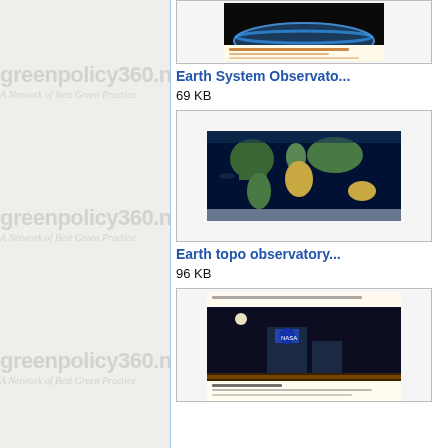[Figure (screenshot): Left sidebar with greenpolicy360.net watermark repeated three times, light gray background with blue right border]
[Figure (photo): Thumbnail of Earth System Observatory document showing Earth from space with blue horizon against black background]
Earth System Observato...
69 KB
[Figure (photo): Thumbnail showing topographic world map with continents visible against dark blue ocean background]
Earth topo observatory...
96 KB
[Figure (photo): Thumbnail showing NASA facility at night with large building illuminated, moon visible, with caption text about Earth]